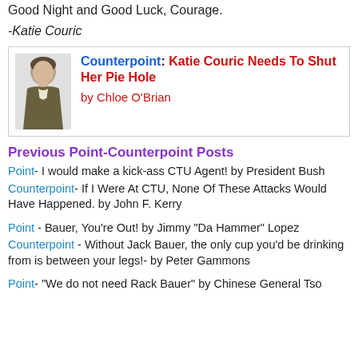Good Night and Good Luck, Courage.
-Katie Couric
[Figure (illustration): Photo of a woman with arms crossed, dark jacket]
Counterpoint: Katie Couric Needs To Shut Her Pie Hole
by Chloe O'Brian
Previous Point-Counterpoint Posts
Point- I would make a kick-ass CTU Agent! by President Bush
Counterpoint- If I Were At CTU, None Of These Attacks Would Have Happened. by John F. Kerry
Point - Bauer, You're Out! by Jimmy "Da Hammer" Lopez
Counterpoint - Without Jack Bauer, the only cup you'd be drinking from is between your legs!- by Peter Gammons
Point- "We do not need Rack Bauer" by Chinese General Tso